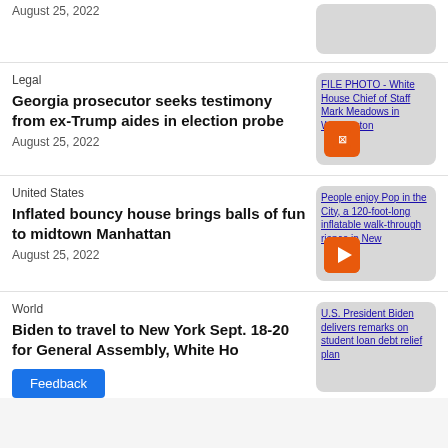August 25, 2022
[Figure (screenshot): Partial news thumbnail at top, cropped]
Legal
Georgia prosecutor seeks testimony from ex-Trump aides in election probe
August 25, 2022
[Figure (photo): FILE PHOTO - White House Chief of Staff Mark Meadows in Washington]
United States
Inflated bouncy house brings balls of fun to midtown Manhattan
August 25, 2022
[Figure (photo): People enjoy Pop in the City, a 120-foot-long inflatable walk-through experience in New]
World
Biden to travel to New York Sept. 18-20 for General Assembly, White Ho
[Figure (photo): U.S. President Biden delivers remarks on student loan debt relief plan]